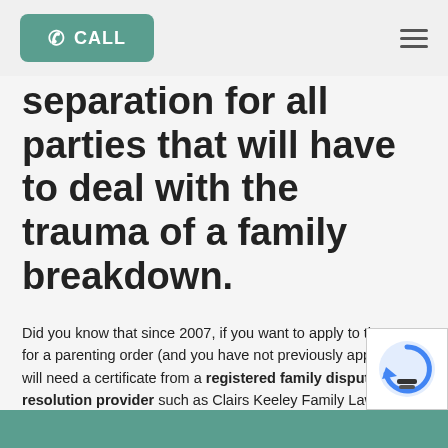CALL
separation for all parties that will have to deal with the trauma of a family breakdown.
Did you know that since 2007, if you want to apply to the court for a parenting order (and you have not previously applied), you will need a certificate from a registered family dispute resolution provider such as Clairs Keeley Family Lawyers which confirms that an attempt at Family Law Mediation was made?